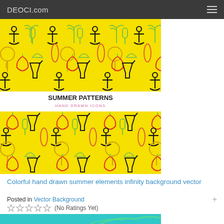DEOCI.com
[Figure (illustration): Colorful hand drawn summer elements pattern on yellow background with anchors, ice cream, strawberries, lollipops, cocktails. Center shows white band with text 'SUMMER PATTERNS HAND DRAWN ICONS'.]
Colorful hand drawn summer elements infinity background vector
Posted in Vector Background
(No Ratings Yet)
[Figure (illustration): Partial view of another illustration with teal/cyan background and tropical palm leaves.]